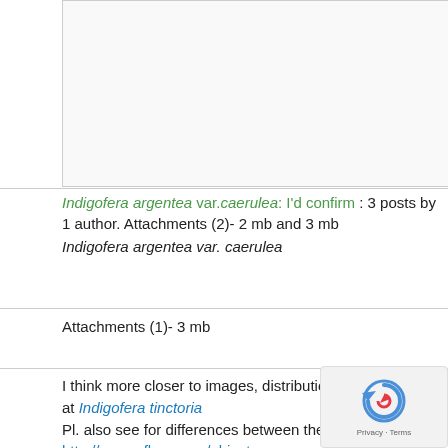[Figure (other): Empty image placeholder box with light border]
Indigofera argentea var.caerulea: I'd confirm : 3 posts by 1 author. Attachments (2)- 2 mb and 3 mb
Indigofera argentea var. caerulea
Attachments (1)- 3 mb
I think more closer to images, distribution and details at Indigofera tinctoria
Pl. also see for differences between the two:
http://www.efloras.org/object_page.aspx?...